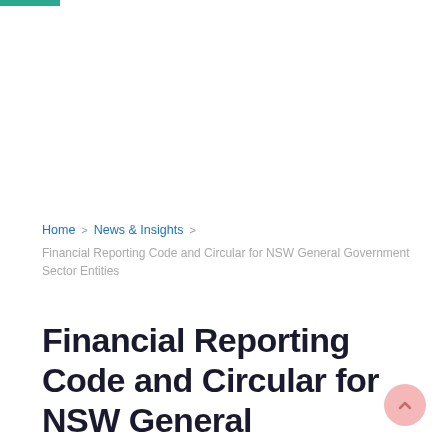Home > News & Insights > Financial Reporting Code and Circular for NSW General Government Sector Entities
Financial Reporting Code and Circular for NSW General Government Sector Entities